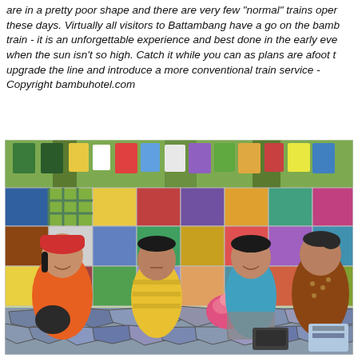are in a pretty poor shape and there are very few "normal" trains open these days. Virtually all visitors to Battambang have a go on the bamb train - it is an unforgettable experience and best done in the early eve when the sun isn't so high. Catch it while you can as plans are afoot t upgrade the line and introduce a more conventional train service - Copyright bambuhotel.com
[Figure (photo): Four people (three younger individuals and one older woman) sitting together outdoors in front of a colorful patchwork fabric backdrop. Clothes hanging above. A patterned table surface in the foreground.]